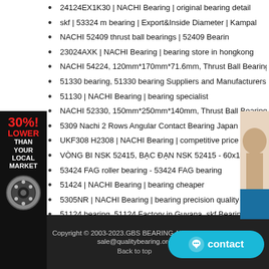24124EX1K30 | NACHI Bearing | original bearing detail
skf | 53324 m bearing | Export&Inside Diameter | Kampal
NACHI 52409 thrust ball bearings | 52409 Bearin
23024AXK | NACHI Bearing | bearing store in hongkong
NACHI 54224, 120mm*170mm*71.6mm, Thrust Ball Bearings, 58224
51330 bearing, 51330 bearing Suppliers and Manufacturers at ..
51130 | NACHI Bearing | bearing specialist
NACHI 52330, 150mm*250mm*140mm, Thrust Ball Bearings, 38330
5309 Nachi 2 Rows Angular Contact Bearing Japan 45x100x39.
UKF308 H2308 | NACHI Bearing | competitive price bearing
VÒNG BI NSK 52415, BẠC ĐẠN NSK 52415 - 60x160x115m
53424 FAG roller bearing - 53424 FAG bearing
51424 | NACHI Bearing | bearing cheaper
5305NR | NACHI Bearing | bearing precision quality
51124 bearing_51124 Factory in Guyana_skf Bearing
NACHI E30309J,rolamentos E30309J,E30309J rolamento Tamanho ..
5308N | NACHI Bearing | bearing experts
Copyright © 2003-2023.GBS BEARING All rights reserved   sale@qualitybearing.org   Back to top